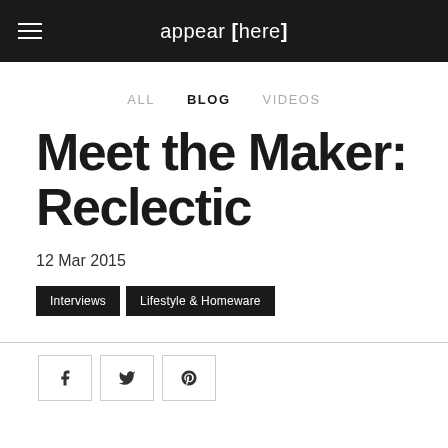appear [here]
ALL  BLOG  VIDEOS
Meet the Maker: Reclectic
12 Mar 2015
Interviews
Lifestyle & Homeware